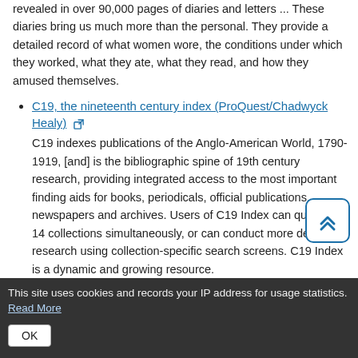revealed in over 90,000 pages of diaries and letters ... These diaries bring us much more than the personal. They provide a detailed record of what women wore, the conditions under which they worked, what they ate, what they read, and how they amused themselves.
C19, the nineteenth century index (ProQuest/Chadwyck Healy) [external link] C19 indexes publications of the Anglo-American World, 1790-1919, [and] is the bibliographic spine of 19th century research, providing integrated access to the most important finding aids for books, periodicals, official publications, newspapers and archives. Users of C19 Index can query its 14 collections simultaneously, or can conduct more detailed research using collection-specific search screens. C19 Index is a dynamic and growing resource.
Chatham House online archive [external link]
This site uses cookies and records your IP address for usage statistics. Read More
OK